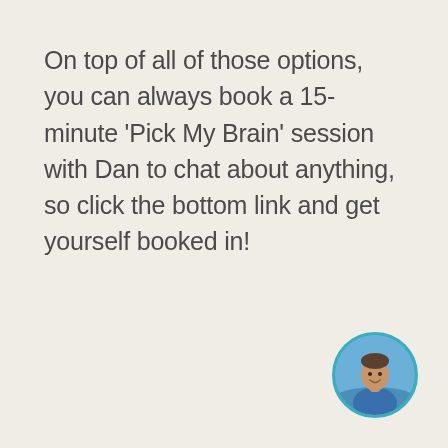On top of all of those options, you can always book a 15-minute ‘Pick My Brain’ session with Dan to chat about anything, so click the bottom link and get yourself booked in!
[Figure (photo): Circular avatar photo of a man (Dan) in a blue polo shirt, outdoors with blue sky in background, framed with a teal/cyan circular border]